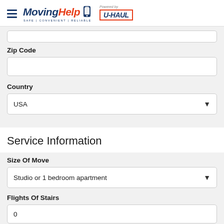MovingHelp - Powered by U-HAUL
Zip Code
Country
USA
Service Information
Size Of Move
Studio or 1 bedroom apartment
Flights Of Stairs
0